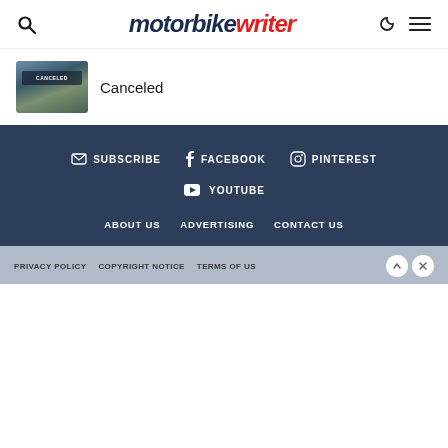motorbike writer
Canceled
SUBSCRIBE  FACEBOOK  PINTEREST  YOUTUBE  ABOUT US  ADVERTISING  CONTACT US  PRIVACY POLICY  COPYRIGHT NOTICE  TERMS OF US...  DISCLAIMER  ...